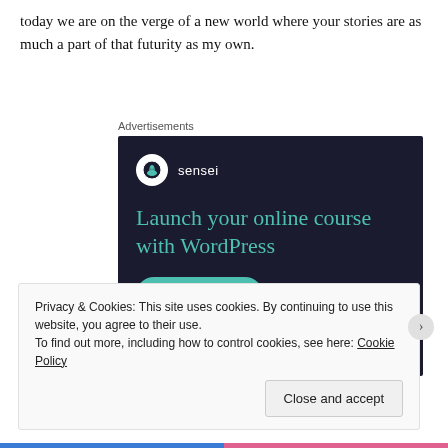today we are on the verge of a new world where your stories are as much a part of that futurity as my own.
Advertisements
[Figure (screenshot): Advertisement for Sensei WordPress plugin showing logo, headline 'Launch your online course with WordPress', and a teal 'Learn More' button on dark navy background.]
Privacy & Cookies: This site uses cookies. By continuing to use this website, you agree to their use.
To find out more, including how to control cookies, see here: Cookie Policy
Close and accept